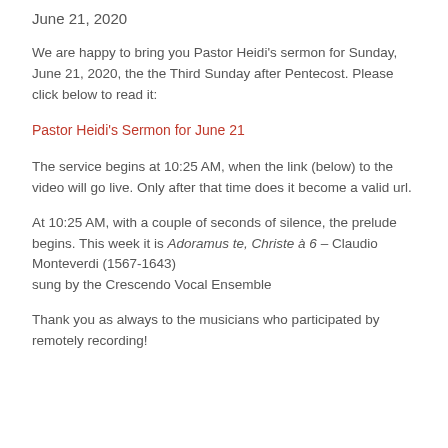June 21, 2020
We are happy to bring you Pastor Heidi's sermon for Sunday, June 21, 2020, the the Third Sunday after Pentecost. Please click below to read it:
Pastor Heidi's Sermon for June 21
The service begins at 10:25 AM, when the link (below) to the video will go live. Only after that time does it become a valid url.
At 10:25 AM, with a couple of seconds of silence, the prelude begins. This week it is Adoramus te, Christe à 6 – Claudio Monteverdi (1567-1643)
ung by the Crescendo Vocal Ensemble
Thank you as always to the musicians who participated by remotely recording!